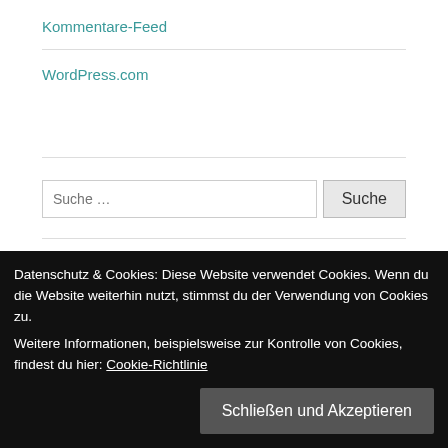Kommentare-Feed
WordPress.com
[Figure (screenshot): Search bar with text input 'Suche ...' and button 'Suche']
Aktuelle Beiträge
Datenschutz & Cookies: Diese Website verwendet Cookies. Wenn du die Website weiterhin nutzt, stimmst du der Verwendung von Cookies zu.
Weitere Informationen, beispielsweise zur Kontrolle von Cookies, findest du hier: Cookie-Richtlinie
Schließen und Akzeptieren